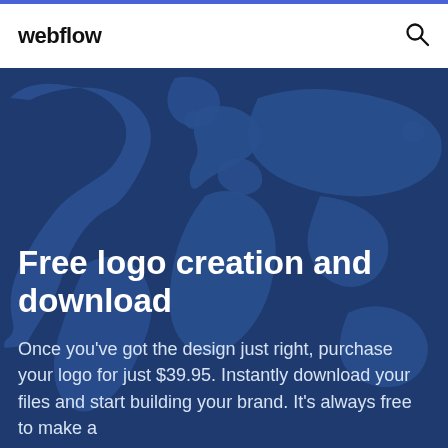webflow
[Figure (illustration): World map silhouette illustration in dark blue tones, serving as a background for hero section]
Free logo creation and download
Once you've got the design just right, purchase your logo for just $39.95. Instantly download your files and start building your brand. It's always free to make a